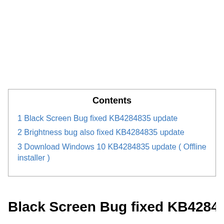| Contents |
| --- |
| 1 Black Screen Bug fixed KB4284835 update |
| 2 Brightness bug also fixed KB4284835 update |
| 3 Download Windows 10 KB4284835 update ( Offline installer ) |
Black Screen Bug fixed KB4284835